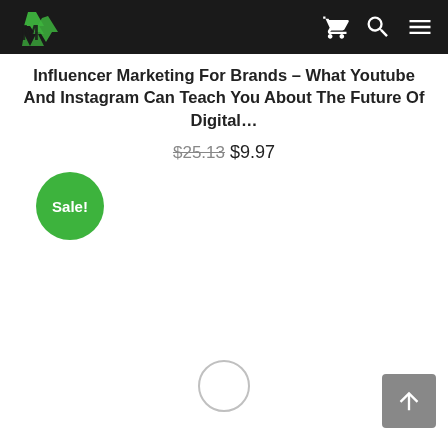Influencer Marketing For Brands – What Youtube And Instagram Can Teach You About The Future Of Digital...
Influencer Marketing For Brands – What Youtube And Instagram Can Teach You About The Future Of Digital...
$25.13 $9.97
[Figure (logo): Green recycling/marketing logo on dark navbar with shopping cart icon, search icon, and hamburger menu icon]
Sale!